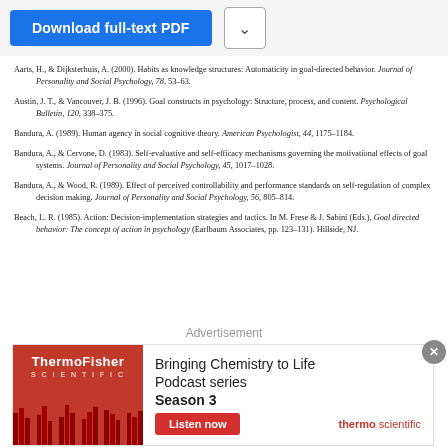Aarts, H., & Dijksterhuis, A. (2000). Habits as knowledge structures: Automaticity in goal-directed behavior. Journal of Personality and Social Psychology, 78, 53–63.
Austin, J. T., & Vancouver, J. B. (1996). Goal constructs in psychology: Structure, process, and content. Psychological Bulletin, 120, 338–375.
Bandura, A. (1989). Human agency in social cognitive theory. American Psychologist, 44, 1175–1184.
Bandura, A., & Cervone, D. (1983). Self-evaluative and self-efficacy mechanisms governing the motivational effects of goal systems. Journal of Personality and Social Psychology, 45, 1017–1028.
Bandura, A., & Wood, R. (1989). Effect of perceived controllability and performance standards on self-regulation of complex decision making. Journal of Personality and Social Psychology, 56, 805–814.
Beach, L. R. (1985). Action: Decision-implementation strategies and tactics. In M. Frese & J. Sabini (Eds.), Goal directed behavior: The concept of action in psychology (Earlbaum Associates, pp. 123–131). Hillside, NJ.
Advertisement
[Figure (infographic): ThermoFisher Scientific advertisement banner. Red left panel with ThermoFisher Scientific logo and decorative red bars. Right panel text: Bringing Chemistry to Life Podcast series Season 3, with a red Listen now button and thermo scientific logo.]